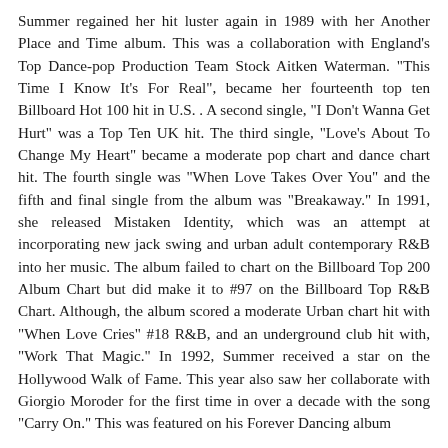Summer regained her hit luster again in 1989 with her Another Place and Time album. This was a collaboration with England's Top Dance-pop Production Team Stock Aitken Waterman. "This Time I Know It's For Real", became her fourteenth top ten Billboard Hot 100 hit in U.S. . A second single, "I Don't Wanna Get Hurt" was a Top Ten UK hit. The third single, "Love's About To Change My Heart" became a moderate pop chart and dance chart hit. The fourth single was "When Love Takes Over You" and the fifth and final single from the album was "Breakaway." In 1991, she released Mistaken Identity, which was an attempt at incorporating new jack swing and urban adult contemporary R&B into her music. The album failed to chart on the Billboard Top 200 Album Chart but did make it to #97 on the Billboard Top R&B Chart. Although, the album scored a moderate Urban chart hit with "When Love Cries" #18 R&B, and an underground club hit with, "Work That Magic." In 1992, Summer received a star on the Hollywood Walk of Fame. This year also saw her collaborate with Giorgio Moroder for the first time in over a decade with the song "Carry On." This was featured on his Forever Dancing album